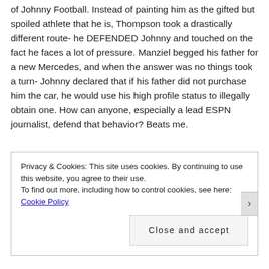of Johnny Football. Instead of painting him as the gifted but spoiled athlete that he is, Thompson took a drastically different route- he DEFENDED Johnny and touched on the fact he faces a lot of pressure. Manziel begged his father for a new Mercedes, and when the answer was no things took a turn- Johnny declared that if his father did not purchase him the car, he would use his high profile status to illegally obtain one. How can anyone, especially a lead ESPN journalist, defend that behavior? Beats me.
Privacy & Cookies: This site uses cookies. By continuing to use this website, you agree to their use.
To find out more, including how to control cookies, see here: Cookie Policy
Close and accept